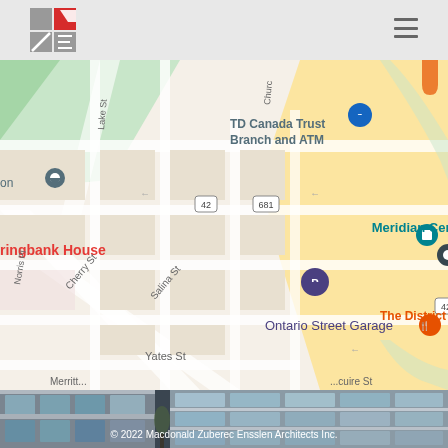[Figure (logo): MZE architects logo — red square with white diagonal line and grey letter blocks]
[Figure (map): Google Maps view of St. Catharines downtown area showing TD Canada Trust Branch and ATM, Meridian Centre, Ontario Street Garage, The District Tapas, Springbank House, and surrounding streets including Lake St, Cherry St, Salina St, Yates St, and Merritt St. Route markers 42 and 681 visible.]
[Figure (photo): Exterior photo of a modern glass and steel office building — lower portion visible with glass curtain wall facade]
© 2022 Macdonald Zuberec Ensslen Architects Inc.